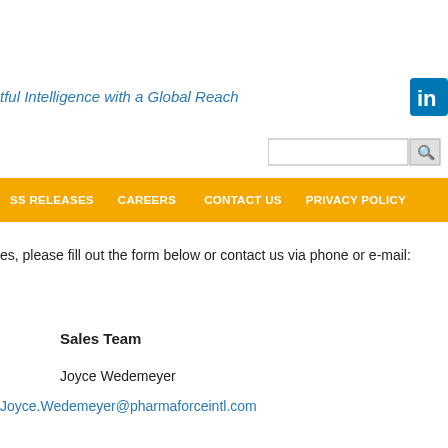tful Intelligence with a Global Reach
[Figure (logo): LinkedIn icon square blue logo]
[Figure (other): Search input box with search button icon]
SS RELEASES   CAREERS   CONTACT US   PRIVACY POLICY
es, please fill out the form below or contact us via phone or e-mail:
Sales Team
Joyce Wedemeyer
Joyce.Wedemeyer@pharmaforceintl.com